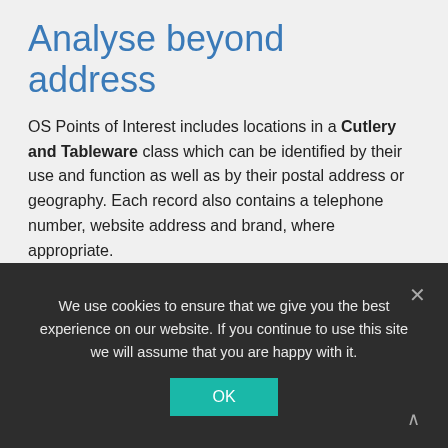Analyse beyond address
OS Points of Interest includes locations in a Cutlery and Tableware class which can be identified by their use and function as well as by their postal address or geography. Each record also contains a telephone number, website address and brand, where appropriate.
For the public sector, OS Points of Interest lets you identify gaps in services and analyse changes in city centre retail space over time. This helps you maintain a quality environment for your residents, shoppers and visitors.
We use cookies to ensure that we give you the best experience on our website. If you continue to use this site we will assume that you are happy with it.